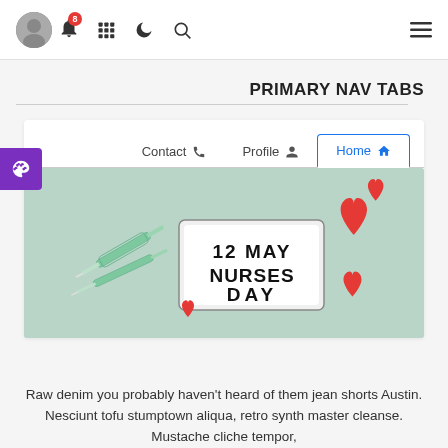8 [notification badge] [grid icon] [moon icon] [search icon] [menu icon]
PRIMARY NAV TABS
Contact  Profile  Home
[Figure (photo): Photo of a light-box sign reading '12 MAY NURSES DAY' surrounded by red heart shapes and syringes on a green background]
Raw denim you probably haven't heard of them jean shorts Austin. Nesciunt tofu stumptown aliqua, retro synth master cleanse. Mustache cliche tempor,